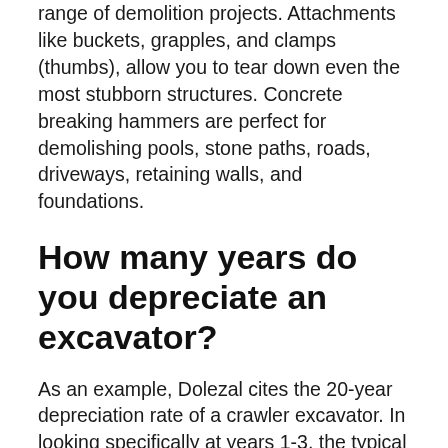range of demolition projects. Attachments like buckets, grapples, and clamps (thumbs), allow you to tear down even the most stubborn structures. Concrete breaking hammers are perfect for demolishing pools, stone paths, roads, driveways, retaining walls, and foundations.
How many years do you depreciate an excavator?
As an example, Dolezal cites the 20-year depreciation rate of a crawler excavator. In looking specifically at years 1-3, the typical crawler excavator depreciates 32 percent.
What is the most reliable